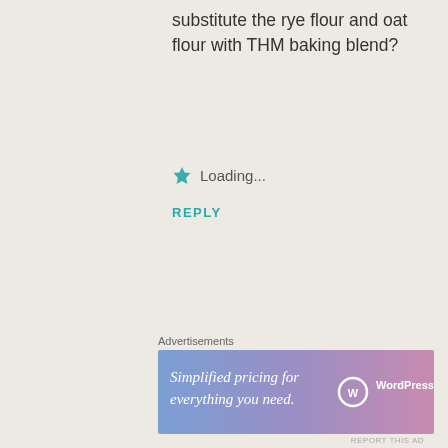substitute the rye flour and oat flour with THM baking blend?
Loading...
REPLY
Advertisements
[Figure (screenshot): WordPress.com ad banner: 'Simplified pricing for everything you need.' with WordPress.com logo on gradient blue-purple background]
REPORT THIS AD
[Figure (illustration): Pink geometric star/snowflake pattern avatar for user Sarah]
Sarah
Advertisements
[Figure (screenshot): MAC cosmetics ad banner showing lipsticks and 'SHOP NOW' button]